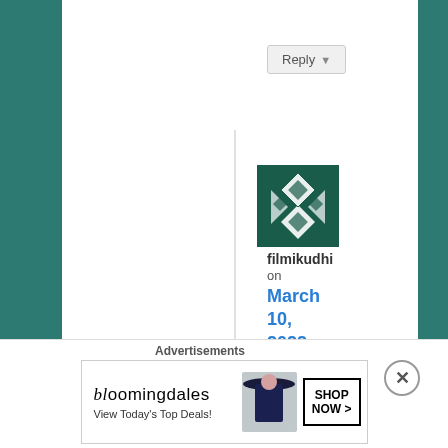Reply ↓
filmikudhi on March 10, 2022 at 9:06 am said:
You have the right impression. Vivek